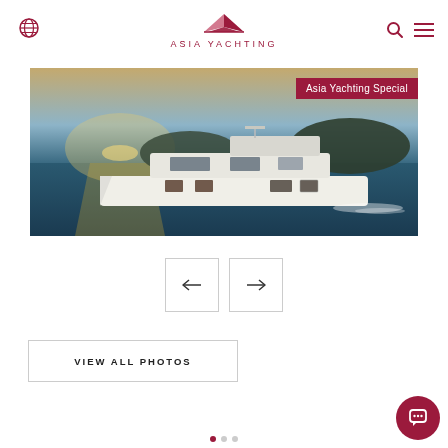Asia Yachting
[Figure (photo): Aerial view of a luxury motor yacht cruising on open water with islands in background, sunset lighting. Label overlay reads 'Asia Yachting Special']
[Figure (infographic): Left and right navigation arrow buttons]
VIEW ALL PHOTOS
[Figure (other): Chat button (dark red circle with chat icon)]